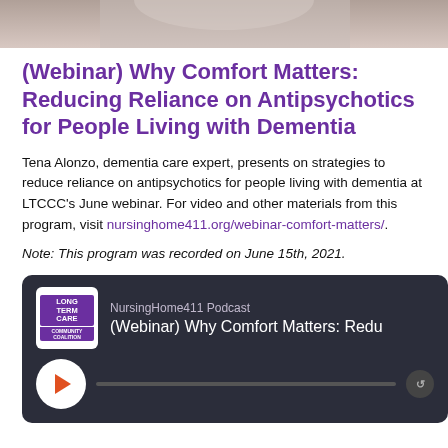[Figure (photo): Partial photo strip at top of page, showing a blurred/cropped image in grayscale/muted tones]
(Webinar) Why Comfort Matters: Reducing Reliance on Antipsychotics for People Living with Dementia
Tena Alonzo, dementia care expert, presents on strategies to reduce reliance on antipsychotics for people living with dementia at LTCCC’s June webinar. For video and other materials from this program, visit nursinghome411.org/webinar-comfort-matters/.
Note: This program was recorded on June 15th, 2021.
[Figure (screenshot): Podcast player widget with dark background showing NursingHome411 Podcast logo, title '(Webinar) Why Comfort Matters: Redu', play button, and progress bar]